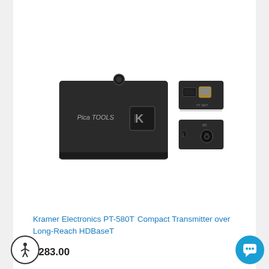[Figure (photo): Kramer Electronics PT-580T device shown from three angles: front view showing the black box with 'Pica TOOLS' branding and Kramer logo, and two side/back panels showing HDMI and RJ45 ports, and a DC power connector.]
Kramer Electronics PT-580T Compact Transmitter over Long-Reach HDBaseT
$283.00